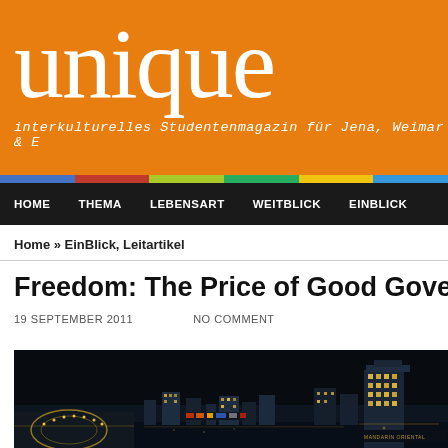unique — interkulturelles Studentenmagazin für Jena, Weimar &
HOME   THEMA   LEBENSART   WEITBLICK   EINBLICK
Home » EinBlick, Leitartikel
Freedom: The Price of Good Governance
19 SEPTEMBER 2011   NO COMMENT
[Figure (photo): Night cityscape photograph showing illuminated city skyline against dark sky, with a prominent tower/building on the right side]